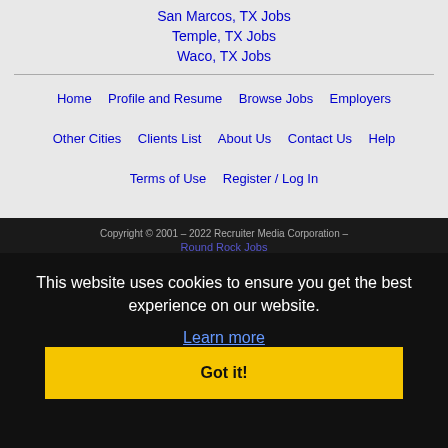San Marcos, TX Jobs
Temple, TX Jobs
Waco, TX Jobs
Home
Profile and Resume
Browse Jobs
Employers
Other Cities
Clients List
About Us
Contact Us
Help
Terms of Use
Register / Log In
Copyright © 2001 - 2022 Recruiter Media Corporation -
Round Rock Jobs
This website uses cookies to ensure you get the best experience on our website.
Learn more
Got it!